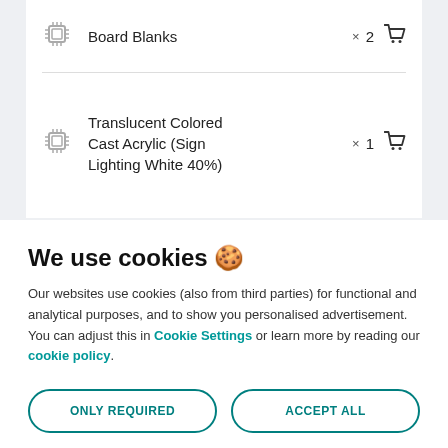Board Blanks × 2
Translucent Colored Cast Acrylic (Sign Lighting White 40%) × 1
We use cookies 🍪
Our websites use cookies (also from third parties) for functional and analytical purposes, and to show you personalised advertisement. You can adjust this in Cookie Settings or learn more by reading our cookie policy.
ONLY REQUIRED
ACCEPT ALL